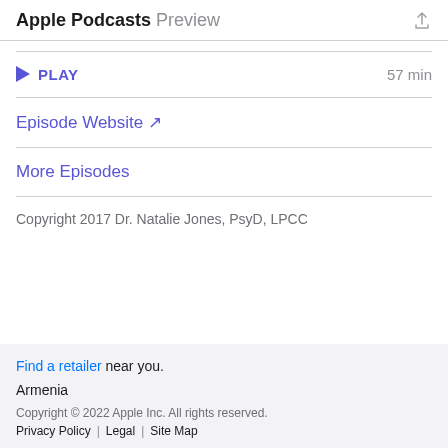Apple Podcasts Preview
PLAY  57 min
Episode Website ↗
More Episodes
Copyright 2017 Dr. Natalie Jones, PsyD, LPCC
Find a retailer near you.
Armenia
Copyright © 2022 Apple Inc. All rights reserved. Privacy Policy | Legal | Site Map